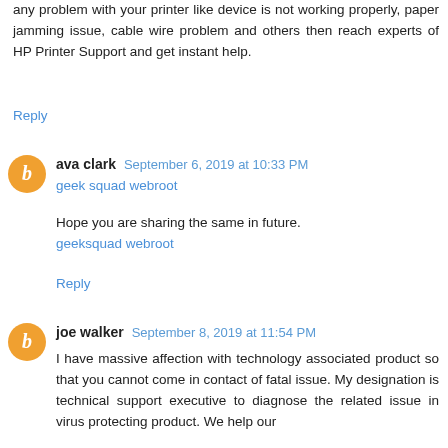any problem with your printer like device is not working properly, paper jamming issue, cable wire problem and others then reach experts of HP Printer Support and get instant help.
Reply
ava clark  September 6, 2019 at 10:33 PM
geek squad webroot
Hope you are sharing the same in future.
geeksquad webroot
Reply
joe walker  September 8, 2019 at 11:54 PM
I have massive affection with technology associated product so that you cannot come in contact of fatal issue. My designation is technical support executive to diagnose the related issue in virus protecting product. We help our